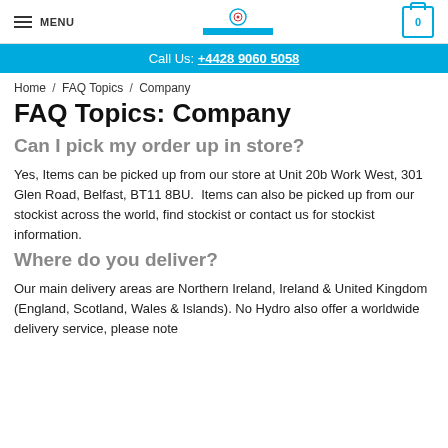MENU | Logo | 0
Call Us: +4428 9060 5058
Home / FAQ Topics / Company
FAQ Topics: Company
Can I pick my order up in store?
Yes, Items can be picked up from our store at Unit 20b Work West, 301 Glen Road, Belfast, BT11 8BU. Items can also be picked up from our stockist across the world, find stockist or contact us for stockist information.
Where do you deliver?
Our main delivery areas are Northern Ireland, Ireland & United Kingdom (England, Scotland, Wales & Islands). No Hydro also offer a worldwide delivery service, please note